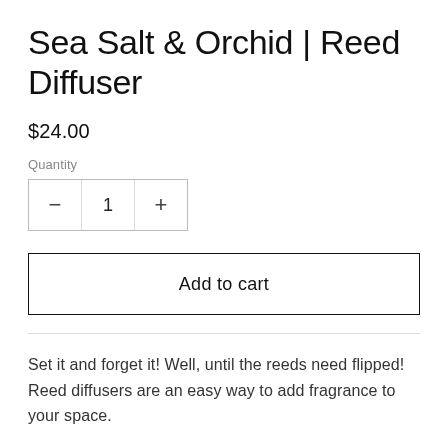Sea Salt & Orchid | Reed Diffuser
$24.00
Quantity
− 1 +
Add to cart
Set it and forget it! Well, until the reeds need flipped! Reed diffusers are an easy way to add fragrance to your space.